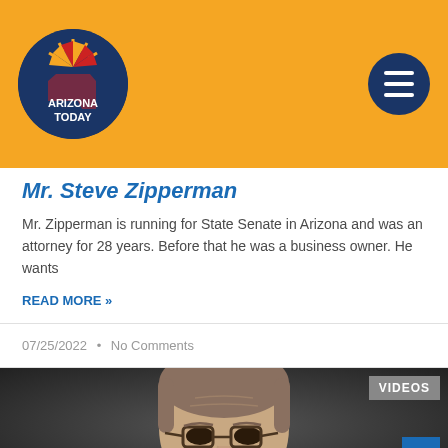[Figure (logo): Arizona Today logo: circular badge with dark blue background, Arizona state flag sun rays at top, text 'ARIZONA TODAY' in center in white]
Mr. Steve Zipperman
Mr. Zipperman is running for State Senate in Arizona and was an attorney for 28 years. Before that he was a business owner. He wants
READ MORE »
07/25/2022  •  No Comments
[Figure (photo): Close-up photo of a man wearing glasses, gray hair, looking at camera, dark background]